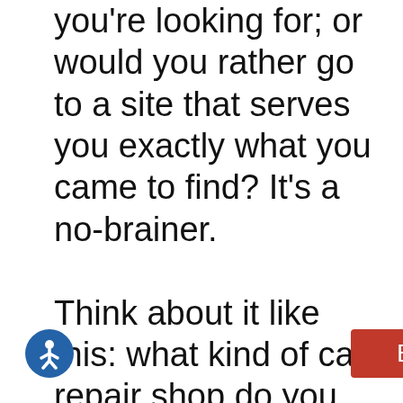you're looking for; or would you rather go to a site that serves you exactly what you came to find? It's a no-brainer.

Think about it like this: what kind of car repair shop do you go to? Do you go to the one that has a dirty lobby or tries to upsell you on a lot of repairs you don't need? Most likely Most people will